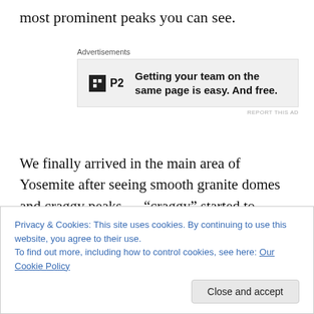most prominent peaks you can see.
[Figure (other): Advertisement banner for P2 with logo and text: Getting your team on the same page is easy. And free.]
We finally arrived in the main area of Yosemite after seeing smooth granite domes and craggy peaks — “craggy” started to describe my demeanor after a couple hours of being patient in RV traffic and delays of rehabilitation on the road surface. There are no areas of solitude unless you explore the wilderness on foot and I’m
Privacy & Cookies: This site uses cookies. By continuing to use this website, you agree to their use.
To find out more, including how to control cookies, see here: Our Cookie Policy
Close and accept